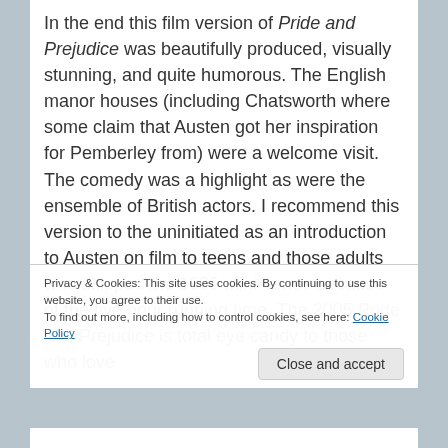In the end this film version of Pride and Prejudice was beautifully produced, visually stunning, and quite humorous. The English manor houses (including Chatsworth where some claim that Austen got her inspiration for Pemberley from) were a welcome visit. The comedy was a highlight as were the ensemble of British actors. I recommend this version to the uninitiated as an introduction to Austen on film to teens and those adults who skipped the 1995 mini-series because of the five hour running time. The 2005 Pride and Prejudice is total eye candy to those who love
Privacy & Cookies: This site uses cookies. By continuing to use this website, you agree to their use.
To find out more, including how to control cookies, see here: Cookie Policy
Close and accept